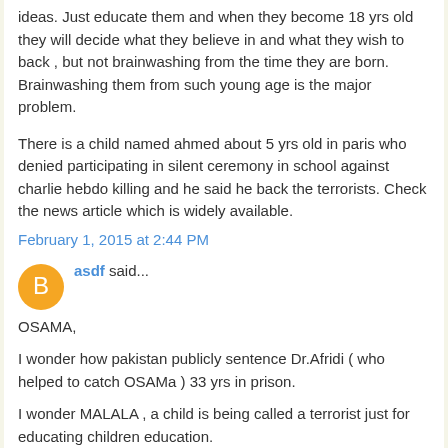ideas. Just educate them and when they become 18 yrs old they will decide what they believe in and what they wish to back , but not brainwashing from the time they are born.
Brainwashing them from such young age is the major problem.
There is a child named ahmed about 5 yrs old in paris who denied participating in silent ceremony in school against charlie hebdo killing and he said he back the terrorists. Check the news article which is widely available.
February 1, 2015 at 2:44 PM
asdf said...
OSAMA,
I wonder how pakistan publicly sentence Dr.Afridi ( who helped to catch OSAMa ) 33 yrs in prison.
I wonder MALALA , a child is being called a terrorist just for educating children education.